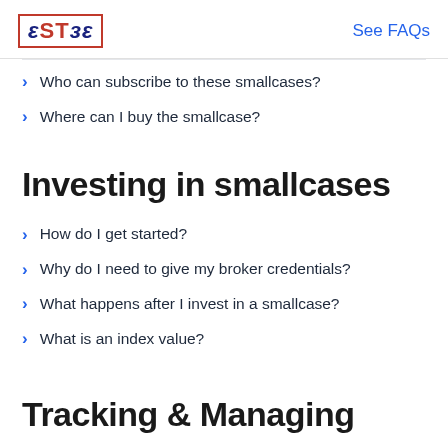eSTзе  See FAQs
Who can subscribe to these smallcases?
Where can I buy the smallcase?
Investing in smallcases
How do I get started?
Why do I need to give my broker credentials?
What happens after I invest in a smallcase?
What is an index value?
Tracking & Managing